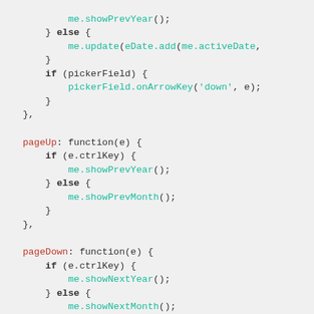[Figure (screenshot): Code snippet showing JavaScript methods: pageUp and pageDown functions with ctrlKey conditionals calling showPrevYear, showPrevMonth, showNextYear, showNextMonth, and update/onArrowKey calls.]